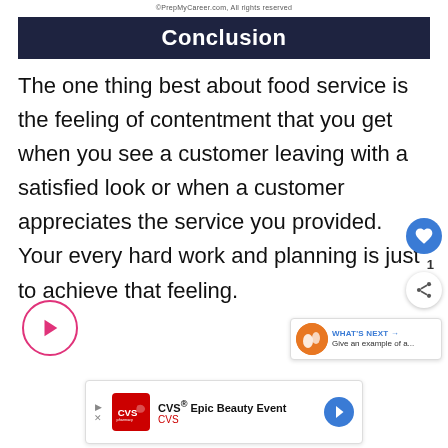©PrepMyCareer.com, All rights reserved
Conclusion
The one thing best about food service is the feeling of contentment that you get when you see a customer leaving with a satisfied look or when a customer appreciates the service you provided. Your every hard work and planning is just to achieve that feeling.
[Figure (other): CVS Epic Beauty Event advertisement banner]
[Figure (other): Play button overlay, heart/share UI, What's Next panel overlay]